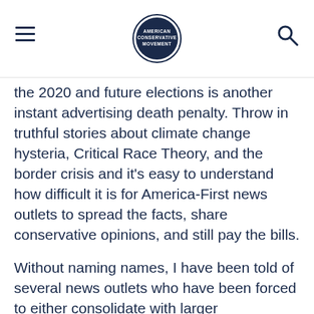[Navigation header with hamburger menu, circular logo, and search icon]
the 2020 and future elections is another instant advertising death penalty. Throw in truthful stories about climate change hysteria, Critical Race Theory, and the border crisis and it's easy to understand how difficult it is for America-First news outlets to spread the facts, share conservative opinions, and still pay the bills.
Without naming names, I have been told of several news outlets who have been forced to either consolidate with larger organizations or who have backed down on covering certain topics out of fear of being